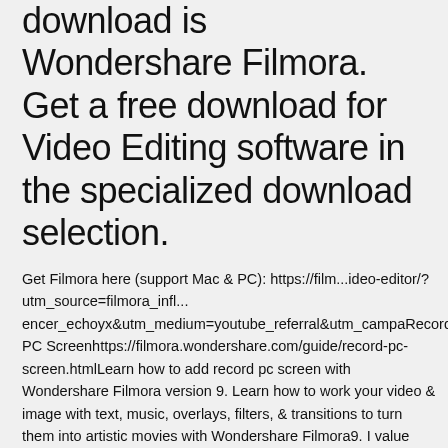download is Wondershare Filmora. Get a free download for Video Editing software in the specialized download selection.
Get Filmora here (support Mac & PC): https://film...ideo-editor/?utm_source=filmora_infl...encer_echoyx&utm_medium=youtube_referral&utm_campaRecord PC Screenhttps://filmora.wondershare.com/guide/record-pc-screen.htmlLearn how to add record pc screen with Wondershare Filmora version 9. Learn how to work your video & image with text, music, overlays, filters, & transitions to turn them into artistic movies with Wondershare Filmora9. I value versatility, so as Filmora's Chief Editor I strive to cover a broad spectrum of